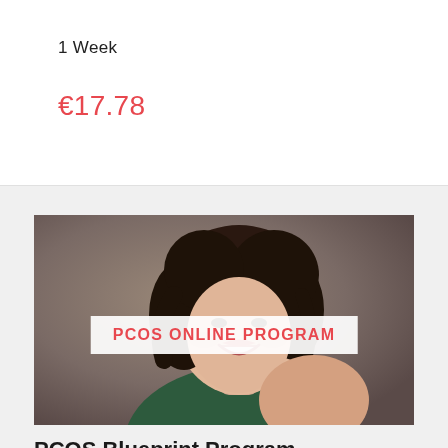1 Week
€17.78
[Figure (photo): Woman with dark curly hair wearing a green top, smiling, with 'PCOS ONLINE PROGRAM' banner overlay on the photo]
PCOS Blueprint Program